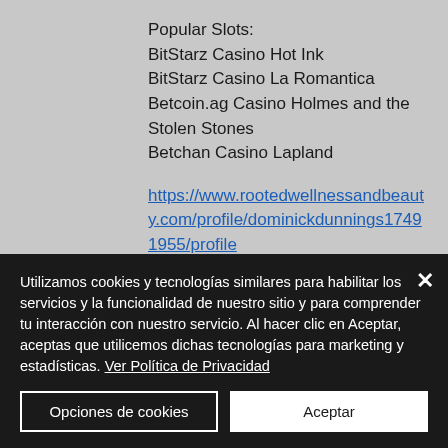Popular Slots:
BitStarz Casino Hot Ink
BitStarz Casino La Romantica
Betcoin.ag Casino Holmes and the Stolen Stones
Betchan Casino Lapland
https://www.rootedwellnessandbeauty.com/profile/dominickdunnings17491955/profile
https://www.cocoritasuites.com/profile/latoyarebar2993699/profile
https://...
Utilizamos cookies y tecnologías similares para habilitar los servicios y la funcionalidad de nuestro sitio y para comprender tu interacción con nuestro servicio. Al hacer clic en Aceptar, aceptas que utilicemos dichas tecnologías para marketing y estadísticas. Ver Política de Privacidad
Opciones de cookies
Aceptar